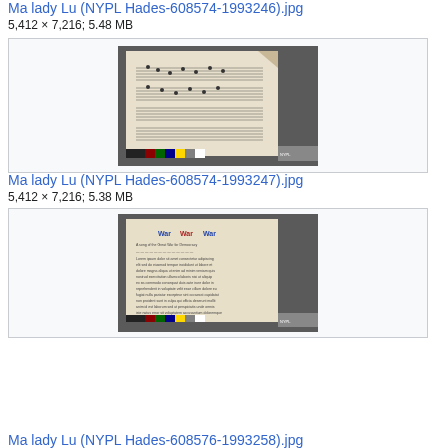Ma lady Lu (NYPL Hades-608574-1993246).jpg
5,412 × 7,216; 5.48 MB
[Figure (photo): Thumbnail of a sheet music page with multiple staves of music notation on aged paper, shown with a color calibration strip at bottom]
Ma lady Lu (NYPL Hades-608574-1993247).jpg
5,412 × 7,216; 5.38 MB
[Figure (photo): Thumbnail of a document page with title 'War War War' in large decorative text followed by song lyrics or text, shown with a color calibration strip at bottom]
Ma lady Lu (NYPL Hades-608576-1993258).jpg